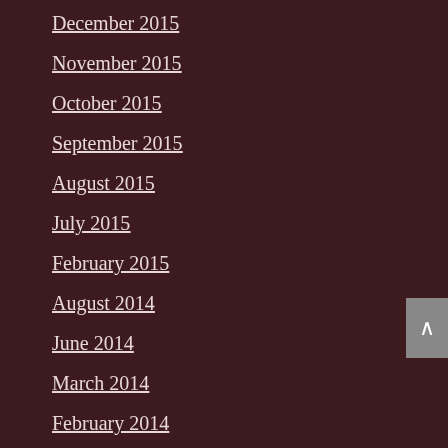December 2015
November 2015
October 2015
September 2015
August 2015
July 2015
February 2015
August 2014
June 2014
March 2014
February 2014